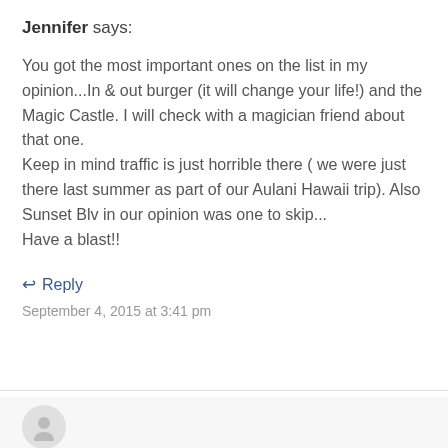Jennifer says:
You got the most important ones on the list in my opinion...In & out burger (it will change your life!) and the Magic Castle. I will check with a magician friend about that one.
Keep in mind traffic is just horrible there ( we were just there last summer as part of our Aulani Hawaii trip). Also Sunset Blv in our opinion was one to skip...
Have a blast!!
↩ Reply
September 4, 2015 at 3:41 pm